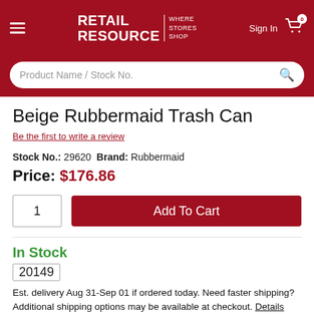RETAIL RESOURCE | WHERE STORES SHOP
Beige Rubbermaid Trash Can
Be the first to write a review
Stock No.: 29620  Brand: Rubbermaid
Price: $176.86
Add To Cart
In Stock
20149
Est. delivery Aug 31-Sep 01 if ordered today. Need faster shipping? Additional shipping options may be available at checkout. Details